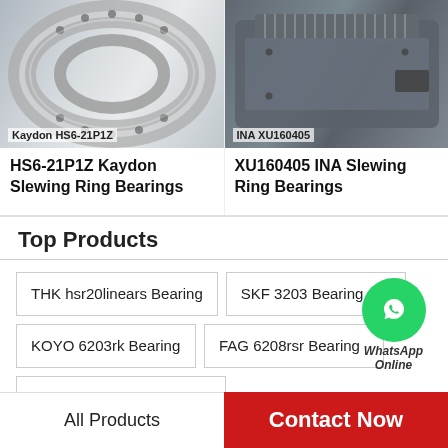[Figure (photo): Close-up photo of a Kaydon HS6-21P1Z slewing ring bearing showing the inner and outer rings with bolt holes on a reflective silver background. Label reads: Kaydon HS6-21P1Z]
[Figure (photo): Photo of an INA XU160405 slewing ring bearing showing the ring gear with teeth and dark housing. Label reads: INA XU160405]
HS6-21P1Z Kaydon Slewing Ring Bearings
XU160405 INA Slewing Ring Bearings
Top Products
THK hsr20linears Bearing
SKF 3203 Bearing
KOYO 6203rk Bearing
FAG 6208rsr Bearing
Timken hm212047 Bearing
[Figure (logo): WhatsApp Online green circle icon with phone handset, with text 'WhatsApp Online' below]
All Products
Contact Now